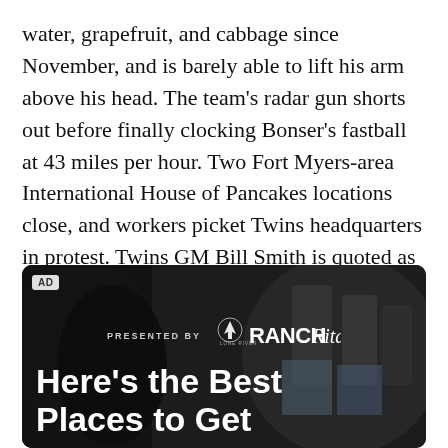water, grapefruit, and cabbage since November, and is barely able to lift his arm above his head. The team's radar gun shorts out before finally clocking Bonser's fastball at 43 miles per hour. Two Fort Myers-area International House of Pancakes locations close, and workers picket Twins headquarters in protest. Twins GM Bill Smith is quoted as telling the picketers, "We signed Livan Hernandez, what more do you people want?"
[Figure (photo): Advertisement banner with dark background showing people in background. 'AD' badge top left. 'PRESENTED BY' text with Lone River Ranch Rita logo in center. Large white bold text at bottom reads 'Here's the Best Places to Get']